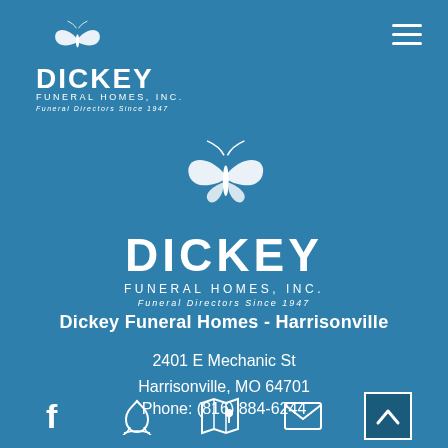[Figure (logo): Dickey Funeral Homes Inc. logo top-left with butterfly graphic, company name, and tagline 'Funeral Directors Since 1947']
[Figure (logo): Large centered Dickey Funeral Homes Inc. logo with butterfly graphic, large DICKEY text, FUNERAL HOMES, INC. subtitle, and tagline 'Funeral Directors Since 1947']
Dickey Funeral Homes - Harrisonville
2401 E Mechanic St
Harrisonville, MO 64701
Phone: (816) 884-6244
[Figure (infographic): Bottom navigation icons: Facebook icon, flame/lotus icon, map/location icon, email envelope icon, and a scroll-up chevron button]